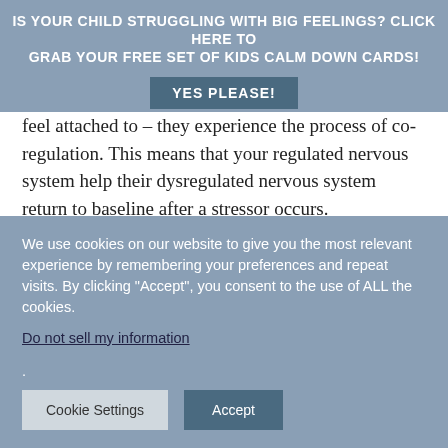IS YOUR CHILD STRUGGLING WITH BIG FEELINGS? CLICK HERE TO GRAB YOUR FREE SET OF KIDS CALM DOWN CARDS! YES PLEASE!
feel attached to – they experience the process of co-regulation. This means that your regulated nervous system help their dysregulated nervous system return to baseline after a stressor occurs.
So when they attend school, and they are separated from you, regulation becomes more difficult for your child. They do not have you to help them co-regulate.
We use cookies on our website to give you the most relevant experience by remembering your preferences and repeat visits. By clicking "Accept", you consent to the use of ALL the cookies.
Do not sell my information.
Cookie Settings | Accept